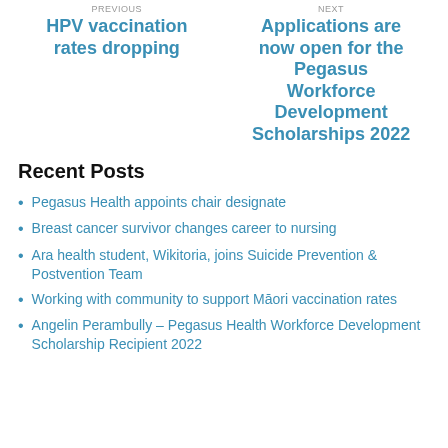PREVIOUS
NEXT
HPV vaccination rates dropping
Applications are now open for the Pegasus Workforce Development Scholarships 2022
Recent Posts
Pegasus Health appoints chair designate
Breast cancer survivor changes career to nursing
Ara health student, Wikitoria, joins Suicide Prevention & Postvention Team
Working with community to support Māori vaccination rates
Angelin Perambully – Pegasus Health Workforce Development Scholarship Recipient 2022